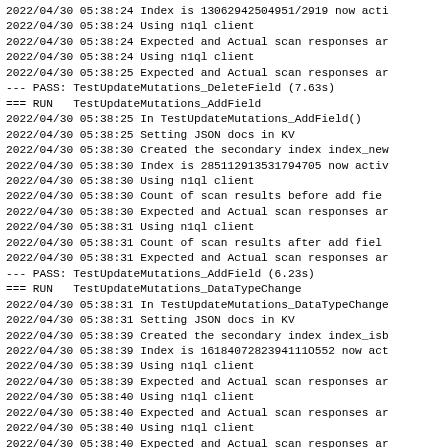2022/04/30 05:38:24 Index is 13062942504951/2919 now acti
2022/04/30 05:38:24 Using n1ql client
2022/04/30 05:38:24 Expected and Actual scan responses ar
2022/04/30 05:38:24 Using n1ql client
2022/04/30 05:38:25 Expected and Actual scan responses ar
--- PASS: TestUpdateMutations_DeleteField (7.63s)
=== RUN   TestUpdateMutations_AddField
2022/04/30 05:38:25 In TestUpdateMutations_AddField()
2022/04/30 05:38:25 Setting JSON docs in KV
2022/04/30 05:38:30 Created the secondary index index_new
2022/04/30 05:38:30 Index is 285112913531794705 now activ
2022/04/30 05:38:30 Using n1ql client
2022/04/30 05:38:30 Count of scan results before add fie
2022/04/30 05:38:30 Expected and Actual scan responses ar
2022/04/30 05:38:31 Using n1ql client
2022/04/30 05:38:31 Count of scan results after add fiel
2022/04/30 05:38:31 Expected and Actual scan responses ar
--- PASS: TestUpdateMutations_AddField (6.23s)
=== RUN   TestUpdateMutations_DataTypeChange
2022/04/30 05:38:31 In TestUpdateMutations_DataTypeChange
2022/04/30 05:38:31 Setting JSON docs in KV
2022/04/30 05:38:39 Created the secondary index index_isb
2022/04/30 05:38:39 Index is 1618407282394111O552 now act
2022/04/30 05:38:39 Using n1ql client
2022/04/30 05:38:39 Expected and Actual scan responses ar
2022/04/30 05:38:40 Using n1ql client
2022/04/30 05:38:40 Expected and Actual scan responses ar
2022/04/30 05:38:40 Using n1ql client
2022/04/30 05:38:40 Expected and Actual scan responses ar
2022/04/30 05:38:40 Using n1ql client